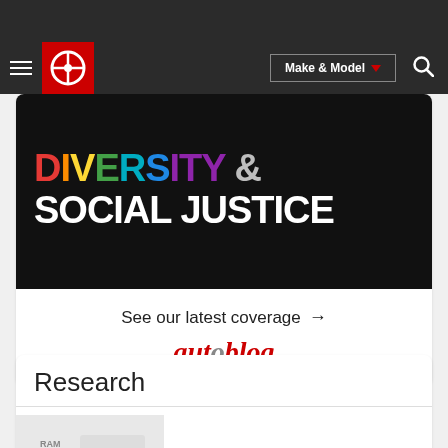Edmunds navigation bar with logo, Make & Model selector, and search
[Figure (screenshot): Autoblog advertisement banner showing 'Diversity & Social Justice' with colorful lettering on black background, 'See our latest coverage →' text, and autoblog logo]
Research
MSRP: $36,500 - $78,790